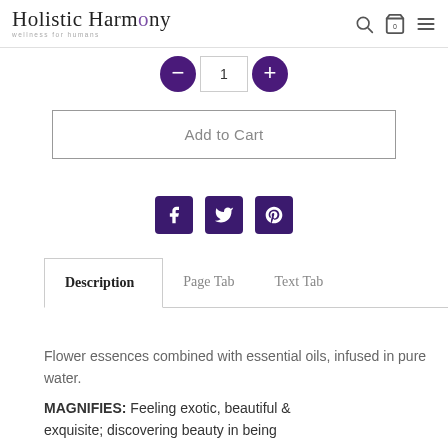Holistic Harmony — wellness for humans
[Figure (other): Quantity selector with minus and plus purple circle buttons and input field showing 1]
Add to Cart
[Figure (other): Social share icons: Facebook, Twitter, Pinterest in dark purple square buttons]
Description | Page Tab | Text Tab
Flower essences combined with essential oils, infused in pure water.
MAGNIFIES: Feeling exotic, beautiful & exquisite; discovering beauty in being…